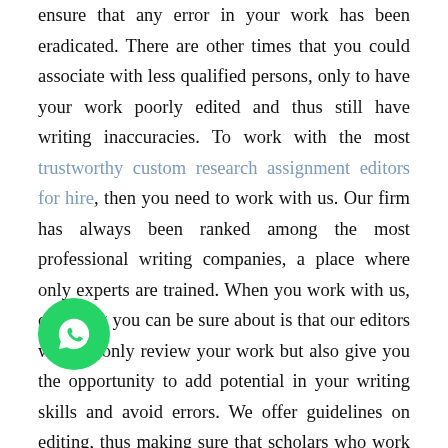ensure that any error in your work has been eradicated. There are other times that you could associate with less qualified persons, only to have your work poorly edited and thus still have writing inaccuracies. To work with the most trustworthy custom research assignment editors for hire, then you need to work with us. Our firm has always been ranked among the most professional writing companies, a place where only experts are trained. When you work with us, one thing you can be sure about is that our editors will not only review your work but also give you the opportunity to add potential in your writing skills and avoid errors. We offer guidelines on editing, thus making sure that scholars who work with us never get disappointed. All that you have to do to receive our professional help is to post to hire online academic papers editing experts from us. You can be sure that you will get an immediate response. You have completed writing your research paper and you are just about to submit it to your instructors. However, you might still not be confident that your project is in the
[Figure (other): WhatsApp contact button - green circular icon with WhatsApp logo]